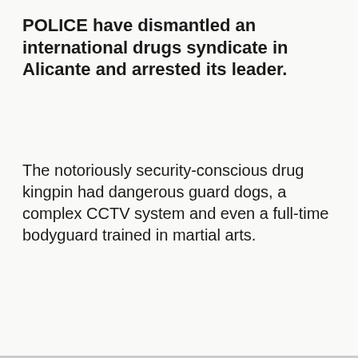POLICE have dismantled an international drugs syndicate in Alicante and arrested its leader.
The notoriously security-conscious drug kingpin had dangerous guard dogs, a complex CCTV system and even a full-time bodyguard trained in martial arts.